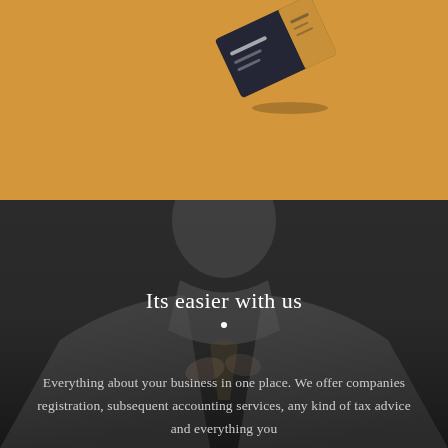[Figure (photo): Top section with golden/amber background showing a tilted dark business card with gold accent floating above a warm amber surface]
[Figure (photo): Dark background section showing a blurred person in a suit adjusting their tie, used as atmospheric background image]
Its easier with us
Everything about your business in one place. We offer companies registration, subsequent accounting services, any kind of tax advice and everything you